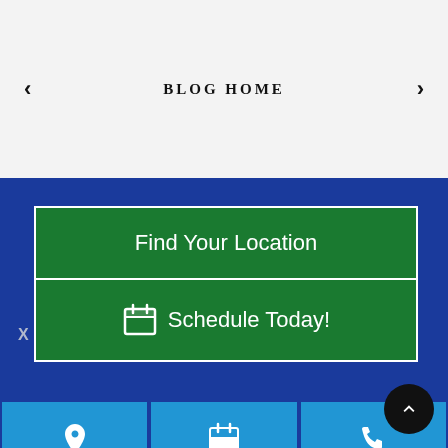BLOG HOME
[Figure (infographic): Green button panel with 'Find Your Location' and a calendar icon 'Schedule Today!' on a dark blue background, plus three blue icon buttons (location pin, calendar, phone) at the bottom, and a black circular scroll-up FAB button]
X